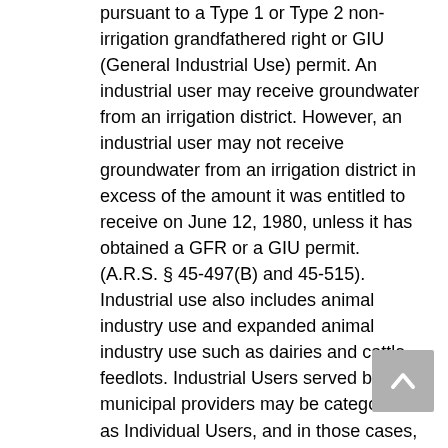pursuant to a Type 1 or Type 2 non-irrigation grandfathered right or GIU (General Industrial Use) permit. An industrial user may receive groundwater from an irrigation district. However, an industrial user may not receive groundwater from an irrigation district in excess of the amount it was entitled to receive on June 12, 1980, unless it has obtained a GFR or a GIU permit. (A.R.S. § 45-497(B) and 45-515). Industrial use also includes animal industry use and expanded animal industry use such as dairies and cattle feedlots. Industrial Users served by municipal providers may be categorized as Individual Users, and in those cases, the municipal provider is responsible for complying with the individual user conservation requirements.
Industrial Water Users are subject to general conservation requirements that apply to all industrial users, including providing reports and...